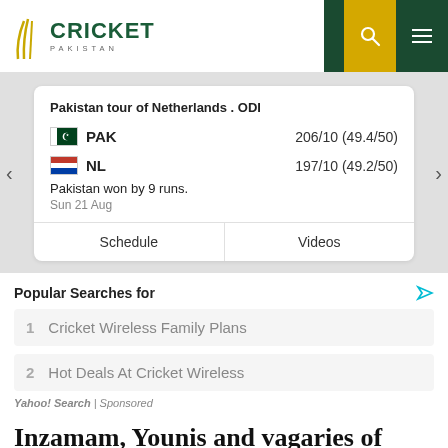Cricket Pakistan
| Team | Score |
| --- | --- |
| PAK | 206/10 (49.4/50) |
| NL | 197/10 (49.2/50) |
Pakistan won by 9 runs.
Sun 21 Aug
Popular Searches for
1  Cricket Wireless Family Plans
2  Hot Deals At Cricket Wireless
Yahoo! Search | Sponsored
Inzamam, Younis and vagaries of Pakistan cricket
The next two months are crucial for Pakistan if